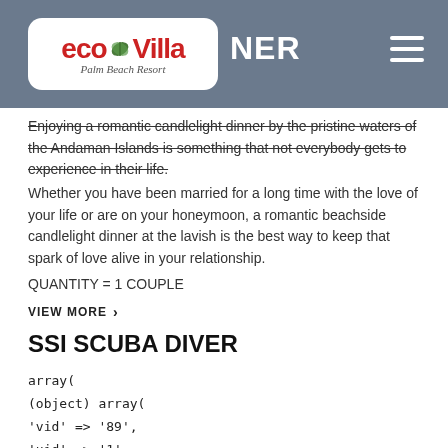Eco Villa Palm Beach Resort — [NER header]
Enjoying a romantic candlelight dinner by the pristine waters of the Andaman Islands is something that not everybody gets to experience in their life.
Whether you have been married for a long time with the love of your life or are on your honeymoon, a romantic beachside candlelight dinner at the lavish is the best way to keep that spark of love alive in your relationship.
QUANTITY = 1 COUPLE
VIEW MORE >
SSI SCUBA DIVER
array(
(object) array(
'vid' => '89',
'uid' => '1',